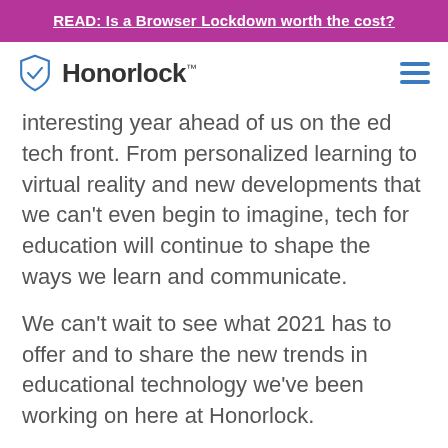READ: Is a Browser Lockdown worth the cost?
[Figure (logo): Honorlock logo with shield checkmark icon and hamburger menu]
interesting year ahead of us on the ed tech front. From personalized learning to virtual reality and new developments that we can't even begin to imagine, tech for education will continue to shape the ways we learn and communicate.
We can't wait to see what 2021 has to offer and to share the new trends in educational technology we've been working on here at Honorlock.
SCHEDULE A DEMO